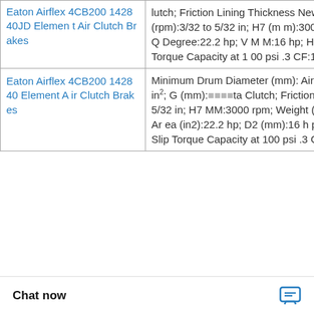| Product | Specifications |
| --- | --- |
| Eaton Airflex 4CB200 142840JD Element Air Clutch Brakes | lutch; Friction Lining Thickness New (in):58 lb; Maximum Speed (rpm):3/32 to 5/32 in; H7 (mm):3000 rpm; Q(Deg) (in):1.8; G Inch:18; Q Degree:22.2 hp; V MM:16 hp; H7 MM:8 hp; W Number:4 hp; Slip Torque Capacity at 100 psi .3 CF:14000 lbin; |
| Eaton Airflex 4CB200 142840 Element Air Clutch Brakes | Minimum Drum Diameter (mm): Air Applied; D2 Inch:38 H7 (mm):112 in²; G (mm): Clutch; Friction Area (d b; Q(Deg) (in):3/32 to 5/32 in; H7 MM:3000 rpm; Weight (lb):1.8; L (Bolt) No (in):18; Friction Area (in2):22.2 hp; D2 (mm):16 hp; H6 (mm):8 hp; W No (mm):4 hp; Slip Torque Capacity at 100 psi .3 CF:14000 lbin; |
[Figure (other): WhatsApp Online green phone icon bubble with text 'WhatsApp Online']
Chat now